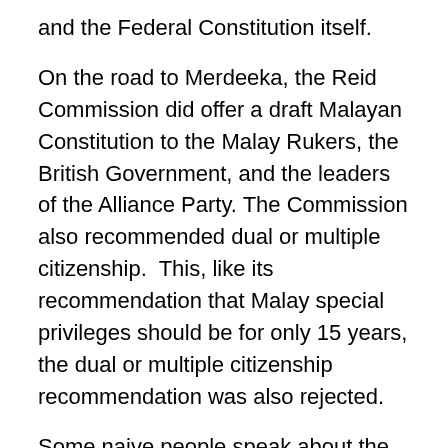and the Federal Constitution itself.
On the road to Merdeeka, the Reid Commission did offer a draft Malayan Constitution to the Malay Rukers, the British Government, and the leaders of the Alliance Party. The Commission also recommended dual or multiple citizenship.  This, like its recommendation that Malay special privileges should be for only 15 years, the dual or multiple citizenship recommendation was also rejected.
Some naive people speak about the departures above from the Reid Commission draft as being a departure from an original constitution.  The likes of Mr Bon should learn history properly, that the Reid Commission was not a party to the Merdeka talks. The parties were strictly the Malay Rulers in whom resided the states' sovereignty, the British Government, which was in treaty with the Malay Rulers as